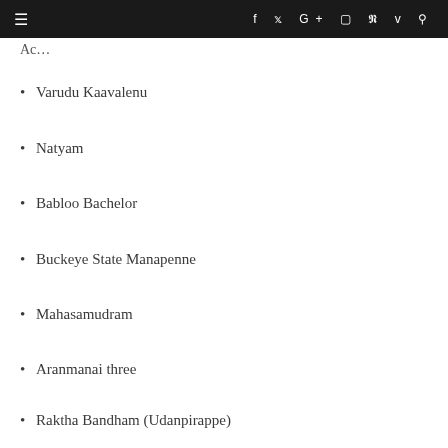≡  f  t  G+  ◻  p  v  ⌕
Ac…
Varudu Kaavalenu
Natyam
Babloo Bachelor
Buckeye State Manapenne
Mahasamudram
Aranmanai three
Raktha Bandham (Udanpirappe)
Vinodhaya Sitham (ZEEE)